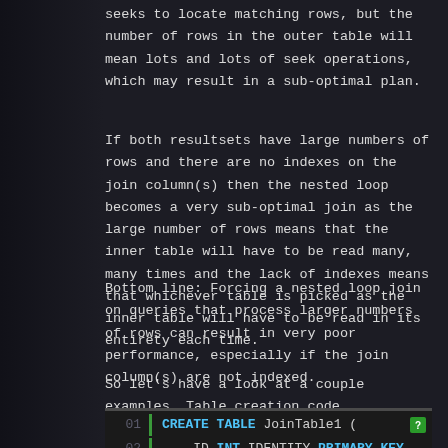seeks to locate matching rows, but the number of rows in the outer table will mean lots and lots of seek operations, which may result in a sub-optimal plan.
If both resultsets have large numbers of rows and there are no indexes on the join column(s) then the nested loop becomes a very sub-optimal join as the large number of rows means that the inner table will have to be read many, many times and the lack of indexes means that whichever table is picked as the inner table will have to be read in its entirety each time.
Bottom line: Forcing a nested loop join on queries that process larger numbers of rows can result in very poor performance, especially if the join column(s) are not indexed.
So let's have a look at a couple examples. Table creation code
[Figure (screenshot): Code block showing SQL CREATE TABLE statement for JoinTable1 with columns ID INT IDENTITY PRIMARY KEY, SomeString VARCHAR(4), RandomDate DATETIME. Line numbers 01-04 shown with green bar separator.]